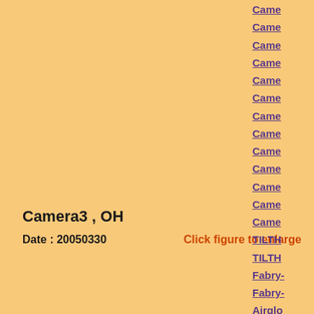Camera3 , OH
Date : 20050330
Click figure to enlarge
Came...
Came...
Came...
Came...
Came...
Came...
Came...
Came...
Came...
Came...
Came...
Came...
Came...
TILTH...
TILTH...
Fabry-...
Fabry-...
Airglo...
Airglo...
Airglo...
Airglo...
Airglo...
Airglo...